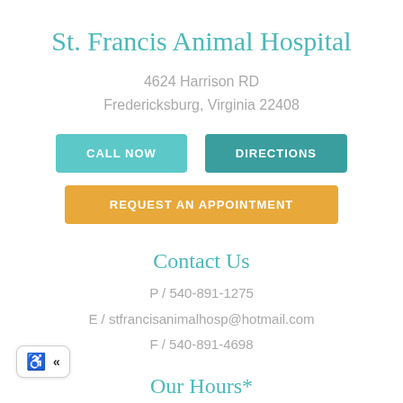St. Francis Animal Hospital
4624 Harrison RD
Fredericksburg, Virginia 22408
[Figure (other): Three buttons: CALL NOW (teal), DIRECTIONS (dark teal), REQUEST AN APPOINTMENT (golden/amber)]
Contact Us
P / 540-891-1275
E / stfrancisanimalhosp@hotmail.com
F / 540-891-4698
[Figure (other): Accessibility widget with wheelchair icon and left-arrow icon]
Our Hours*
Monday: 8AM – 6PM